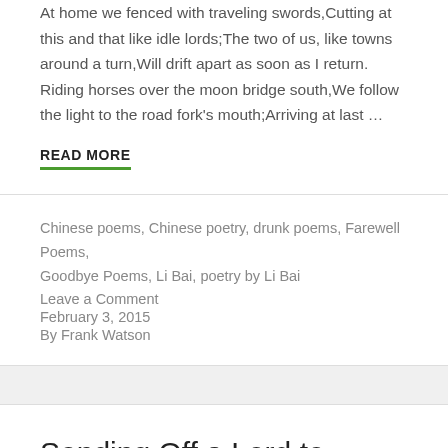At home we fenced with traveling swords,Cutting at this and that like idle lords;The two of us, like towns around a turn,Will drift apart as soon as I return. Riding horses over the moon bridge south,We follow the light to the road fork's mouth;Arriving at last …
READ MORE
Chinese poems, Chinese poetry, drunk poems, Farewell Poems, Goodbye Poems, Li Bai, poetry by Li Bai
Leave a Comment
February 3, 2015
By Frank Watson
Sending Off a Lord to Guizhou, Demoted to a Magistrate